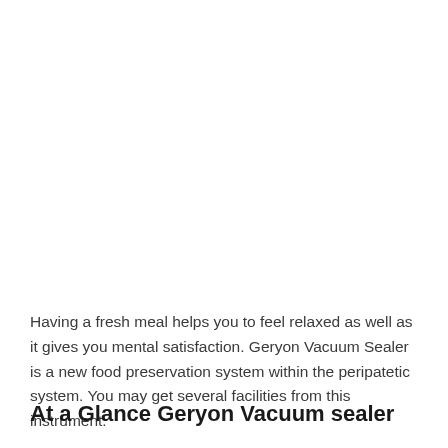Having a fresh meal helps you to feel relaxed as well as it gives you mental satisfaction. Geryon Vacuum Sealer is a new food preservation system within the peripatetic system. You may get several facilities from this instrument.
At a Glance Geryon Vacuum sealer